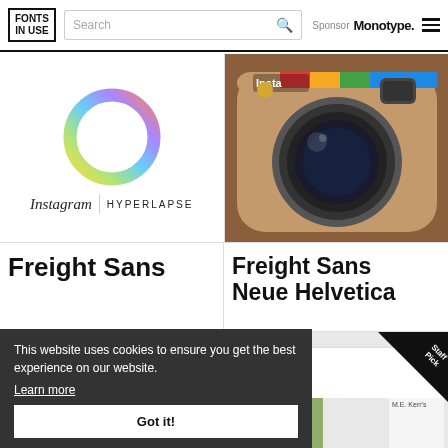FONTS IN USE | Search | Sponsor Monotype.
[Figure (logo): Instagram Hyperlapse app icon: colorful gradient ring on white background with Instagram script logo and HYPERLAPSE text]
Freight Sans
[Figure (photo): Instagram classic camera app icon on brown background]
Freight Sans Neue Helvetica
Roboto (partially visible)
[Figure (photo): Book covers including 'Love You When You're More Like Me' by M.E. Kerr with Staff Pick badge]
hoose th (partially visible large serif text)
This website uses cookies to ensure you get the best experience on our website. Learn more
Got it!